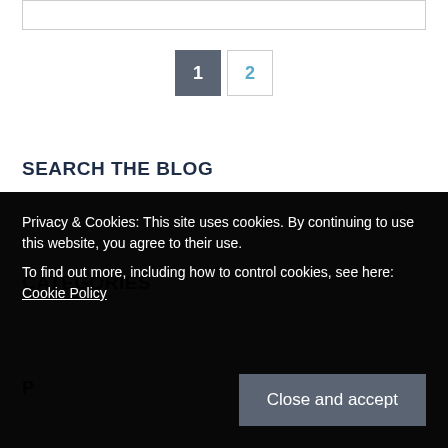[Figure (other): Top border box / content area partial view]
1  2
SEARCH THE BLOG
[Figure (other): Search input box with magnifying glass icon]
CATEGORIES
[Figure (other): Categories dropdown box]
P
Privacy & Cookies: This site uses cookies. By continuing to use this website, you agree to their use.
To find out more, including how to control cookies, see here: Cookie Policy
Close and accept